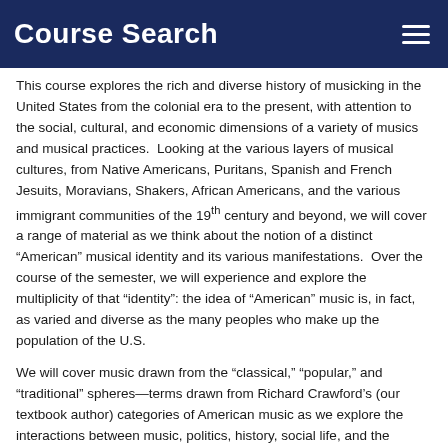Course Search
This course explores the rich and diverse history of musicking in the United States from the colonial era to the present, with attention to the social, cultural, and economic dimensions of a variety of musics and musical practices.  Looking at the various layers of musical cultures, from Native Americans, Puritans, Spanish and French Jesuits, Moravians, Shakers, African Americans, and the various immigrant communities of the 19th century and beyond, we will cover a range of material as we think about the notion of a distinct “American” musical identity and its various manifestations.  Over the course of the semester, we will experience and explore the multiplicity of that “identity”: the idea of “American” music is, in fact, as varied and diverse as the many peoples who make up the population of the U.S.
We will cover music drawn from the “classical,” “popular,” and “traditional” spheres—terms drawn from Richard Crawford’s (our textbook author) categories of American music as we explore the interactions between music, politics, history, social life, and the creation of identity across time.  Students are responsible for all of the assigned reading and listening; assignments will include listening and reading, and sometimes, viewing of video excerpts (some of which we will watch in class).  From time to time, I will supplement the textbook